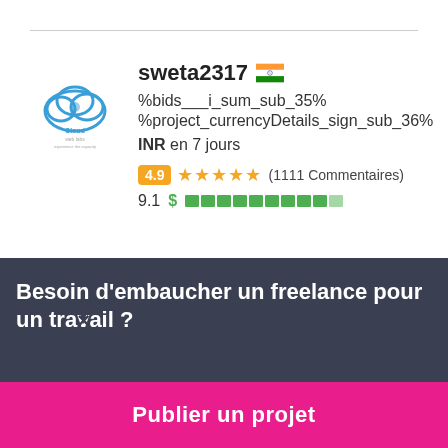[Figure (logo): Cloud Web Labs logo – circular cloud icon with blue outline and domain name text below]
sweta2317 🇮🇳
%bids___i_sum_sub_35%
%project_currencyDetails_sign_sub_36%
INR en 7 jours
4.9 ★★★★★ (1111 Commentaires)
9.1 $ ██████████
Besoin d'embaucher un freelance pour un travail ?
Publier un projet